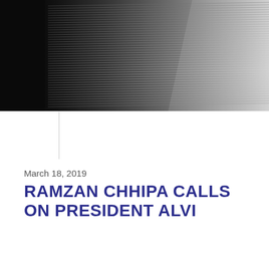[Figure (photo): Stack of newspapers photographed from above/side, grayscale tones, rolled/folded papers visible]
March 18, 2019
RAMZAN CHHIPA CALLS ON PRESIDENT ALVI